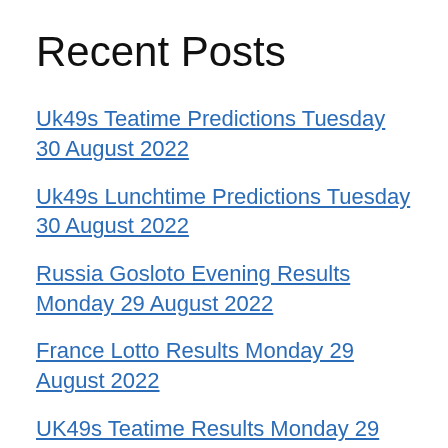Recent Posts
Uk49s Teatime Predictions Tuesday 30 August 2022
Uk49s Lunchtime Predictions Tuesday 30 August 2022
Russia Gosloto Evening Results Monday 29 August 2022
France Lotto Results Monday 29 August 2022
UK49s Teatime Results Monday 29 August 2022